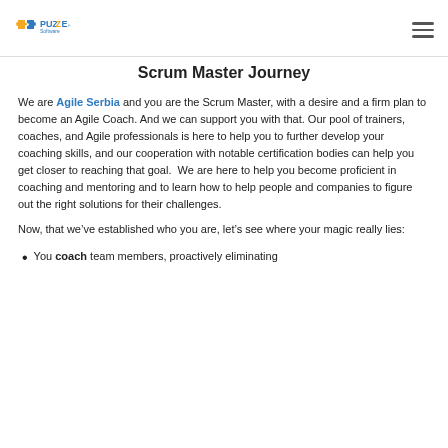Puzzle Software logo and navigation
Scrum Master Journey
We are Agile Serbia and you are the Scrum Master, with a desire and a firm plan to become an Agile Coach. And we can support you with that. Our pool of trainers, coaches, and Agile professionals is here to help you to further develop your coaching skills, and our cooperation with notable certification bodies can help you get closer to reaching that goal.  We are here to help you become proficient in coaching and mentoring and to learn how to help people and companies to figure out the right solutions for their challenges.
Now, that we’ve established who you are, let’s see where your magic really lies:
You coach team members, proactively eliminating